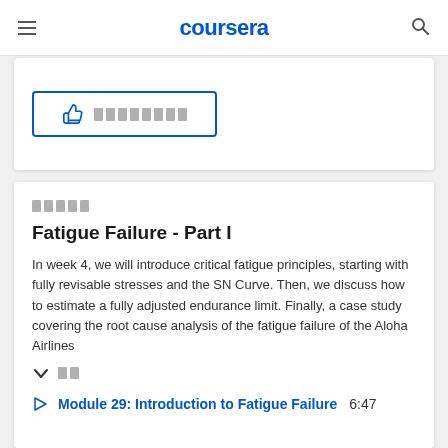coursera
[Figure (screenshot): Thumbs up icon with redacted text inside a blue-bordered button]
░░░░░
Fatigue Failure - Part I
In week 4, we will introduce critical fatigue principles, starting with fully revisable stresses and the SN Curve. Then, we discuss how to estimate a fully adjusted endurance limit. Finally, a case study covering the root cause analysis of the fatigue failure of the Aloha Airlines
░░
Module 29: Introduction to Fatigue Failure 6:47